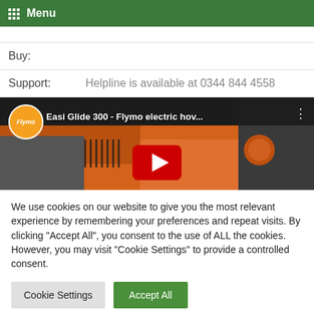Menu
Buy:
Support:    Helpline is available at 0344 844 4558
[Figure (screenshot): YouTube video thumbnail showing Flymo orange lawnmower with title 'Easi Glide 300 - Flymo electric hov...' and Flymo channel logo]
We use cookies on our website to give you the most relevant experience by remembering your preferences and repeat visits. By clicking "Accept All", you consent to the use of ALL the cookies. However, you may visit "Cookie Settings" to provide a controlled consent.
Cookie Settings   Accept All